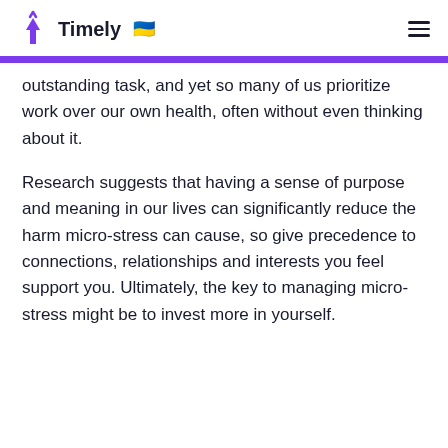Timely
outstanding task, and yet so many of us prioritize work over our own health, often without even thinking about it.
Research suggests that having a sense of purpose and meaning in our lives can significantly reduce the harm micro-stress can cause, so give precedence to connections, relationships and interests you feel support you. Ultimately, the key to managing micro-stress might be to invest more in yourself.